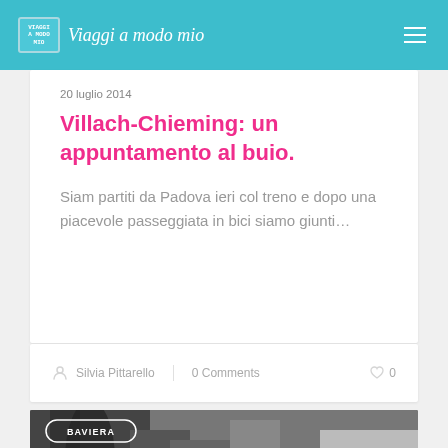Viaggi a modo mio
20 luglio 2014
Villach-Chieming: un appuntamento al buio.
Siam partiti da Padova ieri col treno e dopo una piacevole passeggiata in bici siamo giunti…
Silvia Pittarello   0 Comments   0
[Figure (photo): Black and white street photo with BAVIERA tag overlay]